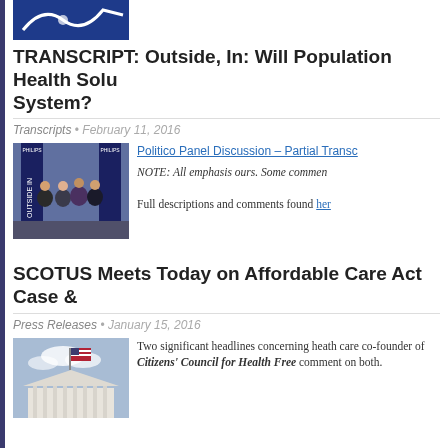[Figure (photo): Partial logo/banner image at top, blue background with white design]
TRANSCRIPT: Outside, In: Will Population Health Solu System?
Transcripts • February 11, 2016
[Figure (photo): Panel discussion photo showing four people seated on stage in front of Philips Outside In banners]
Politico Panel Discussion – Partial Transc
NOTE: All emphasis ours. Some commen
Full descriptions and comments found her
SCOTUS Meets Today on Affordable Care Act Case &
Press Releases • January 15, 2016
[Figure (photo): Photo of the US Supreme Court building with American flag]
Two significant headlines concerning heath care co-founder of Citizens' Council for Health Free comment on both.